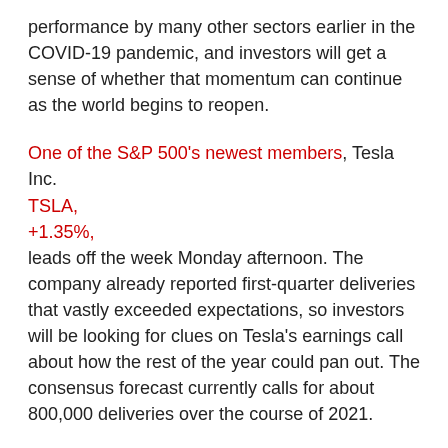performance by many other sectors earlier in the COVID-19 pandemic, and investors will get a sense of whether that momentum can continue as the world begins to reopen.
One of the S&P 500's newest members, Tesla Inc. TSLA, +1.35%, leads off the week Monday afternoon. The company already reported first-quarter deliveries that vastly exceeded expectations, so investors will be looking for clues on Tesla's earnings call about how the rest of the year could pan out. The consensus forecast currently calls for about 800,000 deliveries over the course of 2021.
Earnings preview: Tesla to report earnings amid renewed concerns about Autopilot